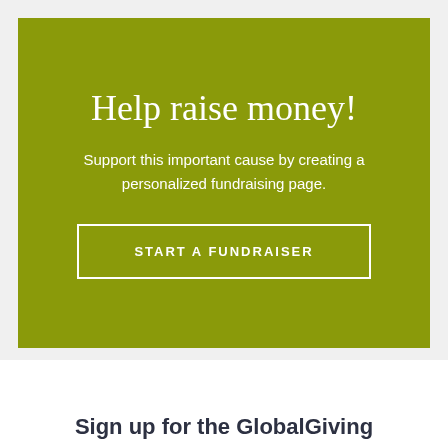Help raise money!
Support this important cause by creating a personalized fundraising page.
START A FUNDRAISER
Sign up for the GlobalGiving